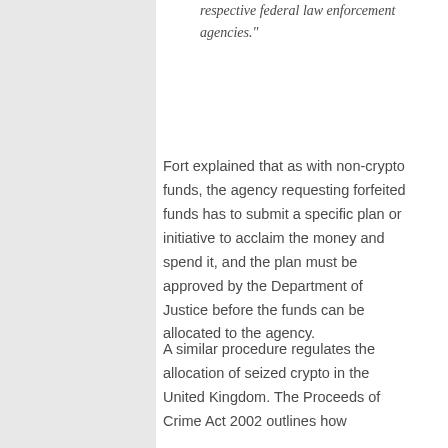respective federal law enforcement agencies.”
Fort explained that as with non-crypto funds, the agency requesting forfeited funds has to submit a specific plan or initiative to acclaim the money and spend it, and the plan must be approved by the Department of Justice before the funds can be allocated to the agency.
A similar procedure regulates the allocation of seized crypto in the United Kingdom. The Proceeds of Crime Act 2002 outlines how